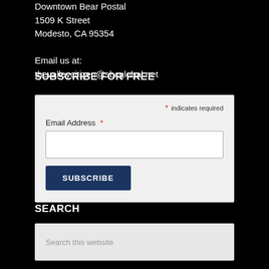Downtown Bear Postal
1509 K Street
Modesto, CA 95354

Email us at:
thevalleycitizen@sbcglobal.net
SUBSCRIBE FOR FREE
* indicates required
Email Address *
SEARCH
Search this website